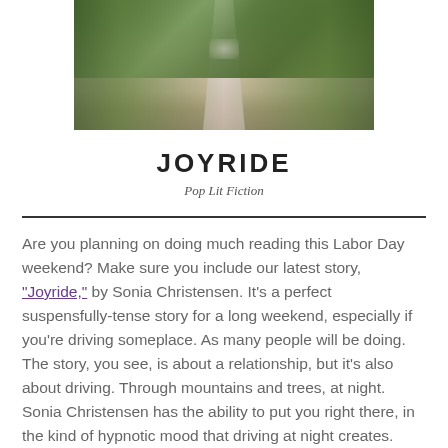[Figure (photo): A road winding through a forest tunnel of trees, viewed from the middle of the road, with autumn foliage on the sides.]
JOYRIDE
Pop Lit Fiction
Are you planning on doing much reading this Labor Day weekend? Make sure you include our latest story, “Joyride,” by Sonia Christensen. It’s a perfect suspensfully-tense story for a long weekend, especially if you’re driving someplace. As many people will be doing. The story, you see, is about a relationship, but it’s also about driving. Through mountains and trees, at night. Sonia Christensen has the ability to put you right there, in the kind of hypnotic mood that driving at night creates. Driving—there’s something